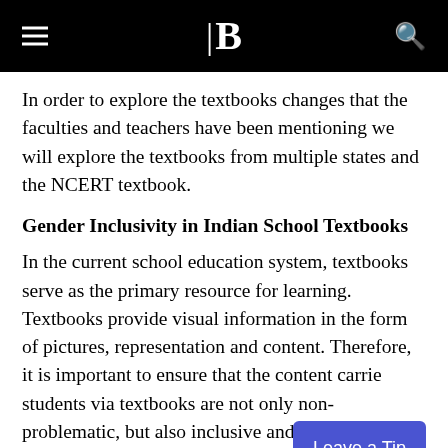B (logo/brand header with hamburger menu and search icon)
In order to explore the textbooks changes that the faculties and teachers have been mentioning we will explore the textbooks from multiple states and the NCERT textbook.
Gender Inclusivity in Indian School Textbooks
In the current school education system, textbooks serve as the primary resource for learning. Textbooks provide visual information in the form of pictures, representation and content. Therefore, it is important to ensure that the content carried students via textbooks are not only non-problematic, but also inclusive and questioning the existing structures. To observe and analyse these, textbooks